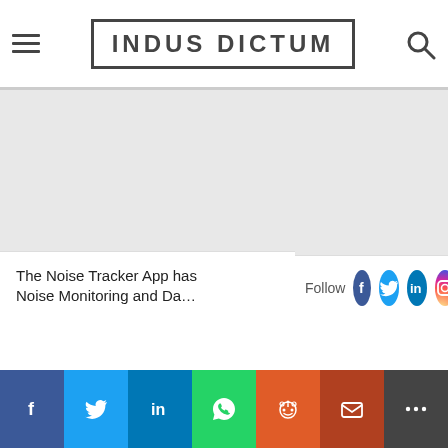INDUS DICTUM
[Figure (screenshot): Large gray advertisement or content placeholder area]
The Noise Tracker App has Noise Monitoring and Da…
Follow